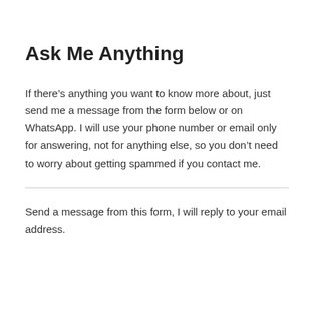Ask Me Anything
If there’s anything you want to know more about, just send me a message from the form below or on WhatsApp. I will use your phone number or email only for answering, not for anything else, so you don’t need to worry about getting spammed if you contact me.
Send a message from this form, I will reply to your email address.